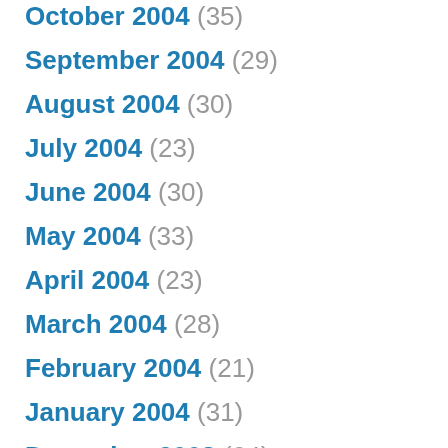October 2004 (35)
September 2004 (29)
August 2004 (30)
July 2004 (23)
June 2004 (30)
May 2004 (33)
April 2004 (23)
March 2004 (28)
February 2004 (21)
January 2004 (31)
December 2003 (24)
November 2003 (25)